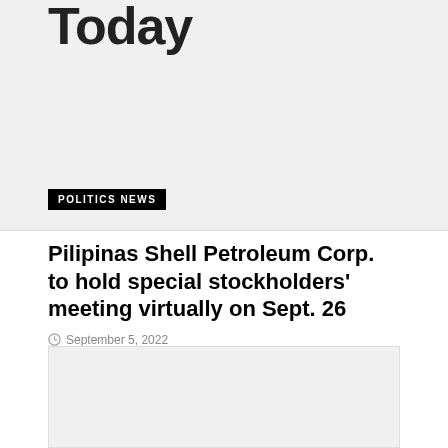Today
POLITICS NEWS
Pilipinas Shell Petroleum Corp. to hold special stockholders' meeting virtually on Sept. 26
September 5, 2022
[Figure (photo): Gray placeholder image at bottom of page]